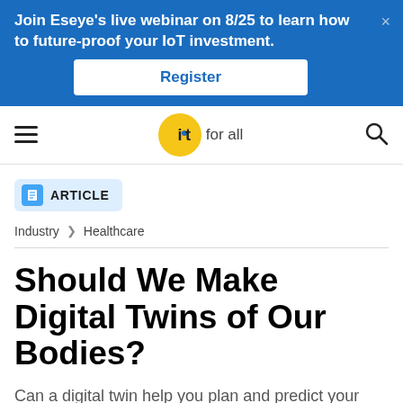Join Eseye's live webinar on 8/25 to learn how to future-proof your IoT investment.
Register
[Figure (logo): IoT for all logo with yellow circle]
ARTICLE
Industry > Healthcare
Should We Make Digital Twins of Our Bodies?
Can a digital twin help you plan and predict your health outcomes?